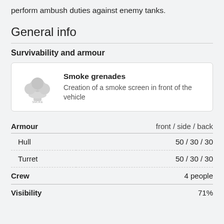perform ambush duties against enemy tanks.
General info
Survivability and armour
[Figure (illustration): Smoke grenade cloud icon (grey mushroom cloud shape)]
Smoke grenades
Creation of a smoke screen in front of the vehicle
| Armour | front / side / back |
| --- | --- |
| Hull | 50 / 30 / 30 |
| Turret | 50 / 30 / 30 |
| Crew | 4 people |
| --- | --- |
Visibility	71%